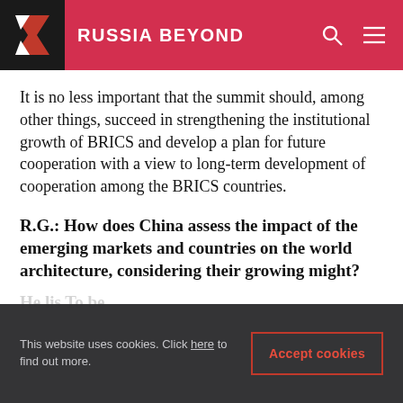RUSSIA BEYOND
It is no less important that the summit should, among other things, succeed in strengthening the institutional growth of BRICS and develop a plan for future cooperation with a view to long-term development of cooperation among the BRICS countries.
R.G.: How does China assess the impact of the emerging markets and countries on the world architecture, considering their growing might?
He lis...  To be...
This website uses cookies. Click here to find out more.